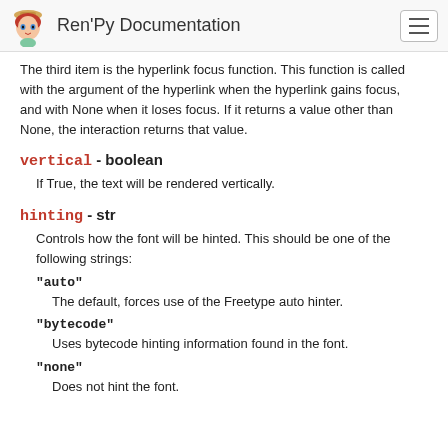Ren'Py Documentation
The third item is the hyperlink focus function. This function is called with the argument of the hyperlink when the hyperlink gains focus, and with None when it loses focus. If it returns a value other than None, the interaction returns that value.
vertical - boolean
If True, the text will be rendered vertically.
hinting - str
Controls how the font will be hinted. This should be one of the following strings:
"auto"
The default, forces use of the Freetype auto hinter.
"bytecode"
Uses bytecode hinting information found in the font.
"none"
Does not hint the font.